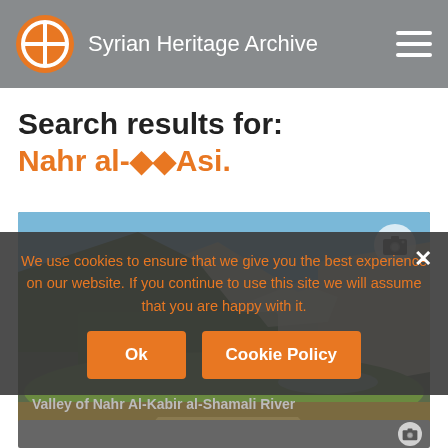Syrian Heritage Archive
Search results for: Nahr al-◆◆Asi.
[Figure (photo): Landscape photo of a river valley with hills, green trees and light-coloured rock formations under a blue sky. Caption: Valley of Nahr Al-Kabir al-Shamali River]
Valley of Nahr Al-Kabir al-Shamali River
We use cookies to ensure that we give you the best experience on our website. If you continue to use this site we will assume that you are happy with it.
[Figure (photo): Partially visible second search result photo card at bottom of page]